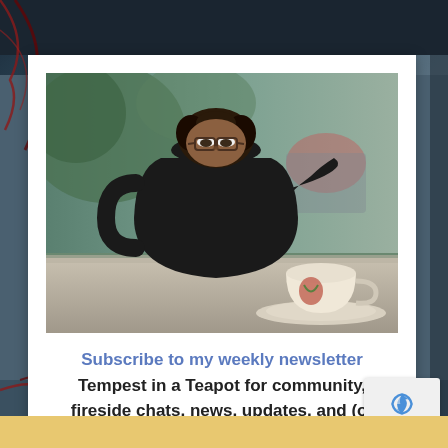[Figure (photo): A teapot-shaped silhouette with a person's face visible above it, set against a background of a table with teacups, suggesting a whimsical newsletter theme called Tempest in a Teapot.]
Subscribe to my weekly newsletter Tempest in a Teapot for community, fireside chats, news, updates, and (of course) tea.